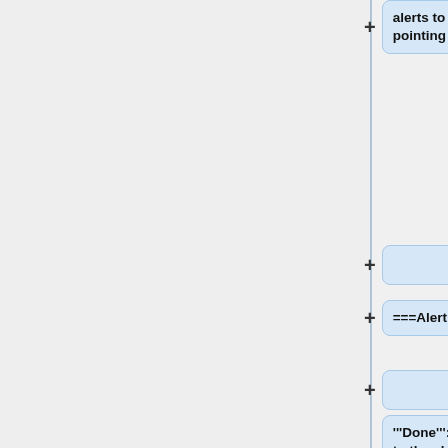alerts to users of older versions, pointing to the web page.
===Alert system===
'''Done''': Review who has access to the alert system keys, make sure they all have contact information for each other, and get good timezone